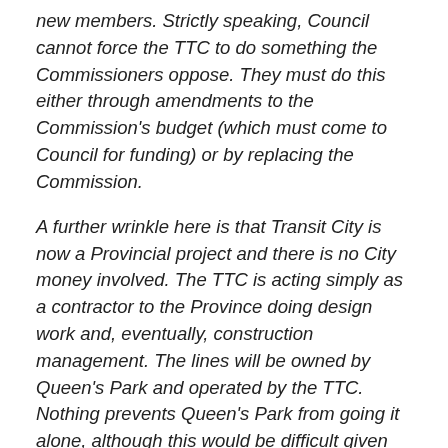new members. Strictly speaking, Council cannot force the TTC to do something the Commissioners oppose. They must do this either through amendments to the Commission's budget (which must come to Council for funding) or by replacing the Commission.
A further wrinkle here is that Transit City is now a Provincial project and there is no City money involved. The TTC is acting simply as a contractor to the Province doing design work and, eventually, construction management. The lines will be owned by Queen's Park and operated by the TTC. Nothing prevents Queen's Park from going it alone, although this would be difficult given the number of municipal services that are affected by transit construction.